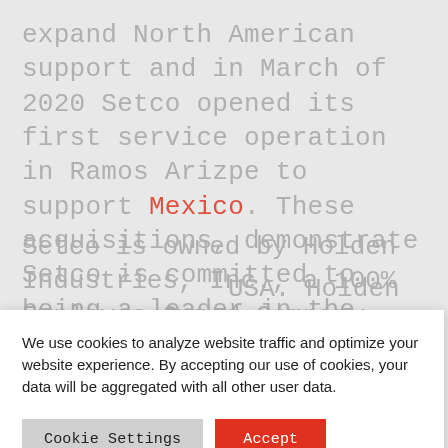expand North American support and in March of 2020 Setco opened its first service operation in Ramos Arizpe to support Mexico. These acquisitions, demonstrate Setco is committed to being a leader in the global markets they serve.
Setco is owned by Holden Industries, Inc., a 100% Employee-Owned Company
USA. Holden owned ore business
We use cookies to analyze website traffic and optimize your website experience. By accepting our use of cookies, your data will be aggregated with all other user data.
Cookie Settings
Accept
[Figure (logo): Setco logo (red circle and text) and gray partial circle logo at bottom of page]